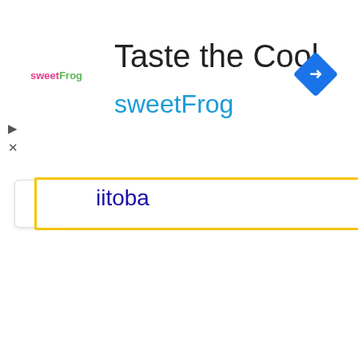[Figure (screenshot): sweetFrog advertisement banner with logo, title 'Taste the Cool', subtitle 'sweetFrog', and a blue diamond navigation icon in the top-right corner]
[Figure (screenshot): Search bar UI element with yellow border, showing partial text 'iitoba' in blue, with an up-arrow collapse button on the left]